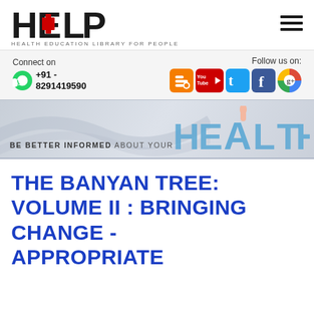[Figure (logo): HELP - Health Education Library For People logo with red cross in letter E]
[Figure (infographic): Hamburger menu icon (three horizontal bars)]
Connect on +91 - 8291419590
[Figure (infographic): Social media icons: Blogger, YouTube, Twitter, Facebook, Google+. Follow us on:]
[Figure (infographic): Banner: BE BETTER INFORMED ABOUT YOUR HEALTH with a hand holding the letter A]
THE BANYAN TREE: VOLUME II : BRINGING CHANGE - APPROPRIATE